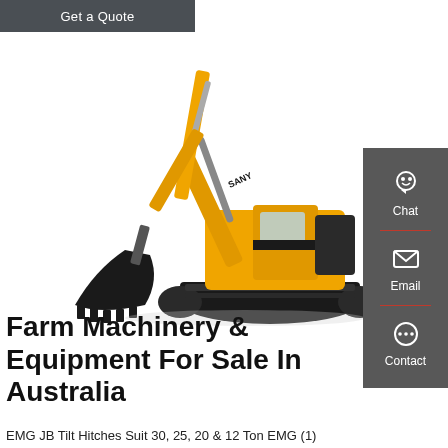Get a Quote
[Figure (photo): Yellow SANY excavator with black bucket on white background]
[Figure (infographic): Side panel with Chat, Email, and Contact icons on dark grey background]
Farm Machinery & Equipment For Sale In Australia
EMG JB Tilt Hitches Suit 30, 25, 20 & 12 Ton EMG (1)